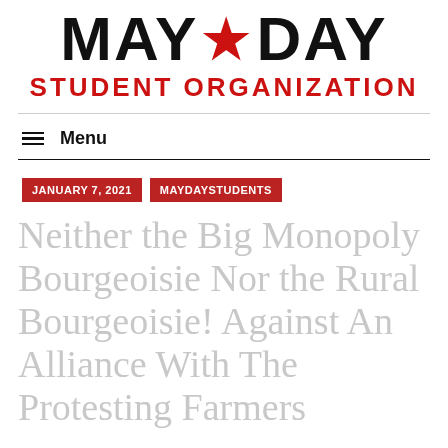[Figure (logo): MAY DAY logo with red star between MAY and DAY in bold black text, and STUDENT ORGANIZATION in bold red text below]
≡  Menu
JANUARY 7, 2021
MAYDAYSTUDENTS
Neither the Big Monopoly Bourgeoisie Nor the Rural Bourgeoisie! Against An Alliance With The Protesting Farmers